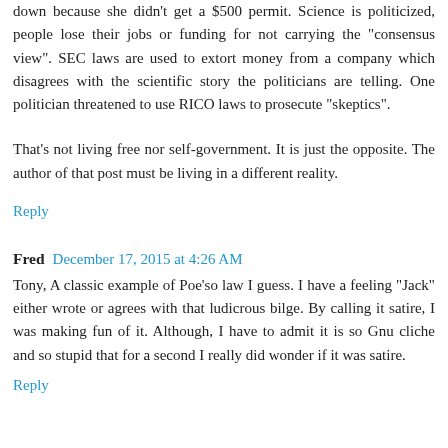down because she didn't get a $500 permit. Science is politicized, people lose their jobs or funding for not carrying the "consensus view". SEC laws are used to extort money from a company which disagrees with the scientific story the politicians are telling. One politician threatened to use RICO laws to prosecute "skeptics".
That's not living free nor self-government. It is just the opposite. The author of that post must be living in a different reality.
Reply
Fred  December 17, 2015 at 4:26 AM
Tony, A classic example of Poe'so law I guess. I have a feeling "Jack" either wrote or agrees with that ludicrous bilge. By calling it satire, I was making fun of it. Although, I have to admit it is so Gnu cliche and so stupid that for a second I really did wonder if it was satire.
Reply